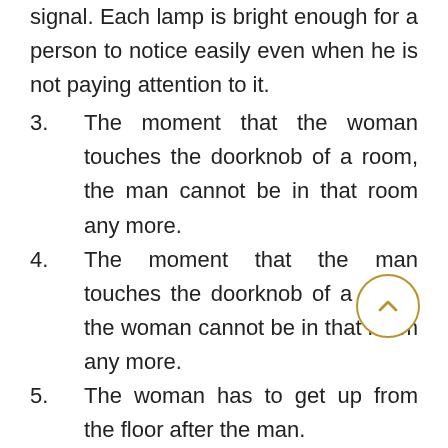signal. Each lamp is bright enough for a person to notice easily even when he is not paying attention to it.
3.      The moment that the woman touches the doorknob of a room, the man cannot be in that room any more.
4.      The moment that the man touches the doorknob of a room, the woman cannot be in that room any more.
5.      The woman has to get up from the floor after the man.
6.      The man and woman are not permitted to communicate between each other in any way, or obtain from